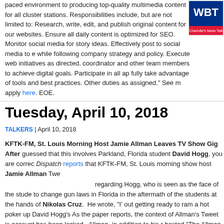paced environment to producing top-quality multimedia content for all cluster stations. Responsibilities include, but are not limited to: Research, write, edit, and publish original content for our websites. Ensure all daily content is optimized for SEO. Monitor social media for story ideas. Effectively post to social media to e while following company strategy and policy. Execute web initiatives as directed. coordinator and other team members to achieve digital goals. Participate in all ap fully take advantage of tools and best practices. Other duties as assigned." See m apply here. EOE.
[Figure (logo): WBT Charlotte's News Talk radio station logo]
Tuesday, April 10, 2018
TALKERS | April 10, 2018
KFTK-FM, St. Louis Morning Host Jamie Allman Leaves TV Show Gig After guessed that this involves Parkland, Florida student David Hogg, you are correc Dispatch reports that KFTK-FM, St. Louis morning show host Jamie Allman Twe regarding Hogg, who is seen as the face of the stude to change gun laws in Florida in the aftermath of the students at the hands of Nikolas Cruz. He wrote, "I' out getting ready to ram a hot poker up David Hogg's As the paper reports, the context of Allman's Tweet is account has been locked. Allman, in addition to his r hosted “The Allman Report” on Sinclair Broadcast C The Hollywood Reporter states that he resigned that